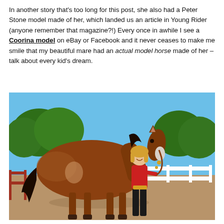In another story that's too long for this post, she also had a Peter Stone model made of her, which landed us an article in Young Rider (anyone remember that magazine?!) Every once in awhile I see a Coorina model on eBay or Facebook and it never ceases to make me smile that my beautiful mare had an actual model horse made of her – talk about every kid's dream.
[Figure (photo): A young girl in a red shirt and black pants with a large belt buckle stands beside a chestnut horse with a white blaze, in a dirt arena with white fence and green trees in the background under a blue sky.]